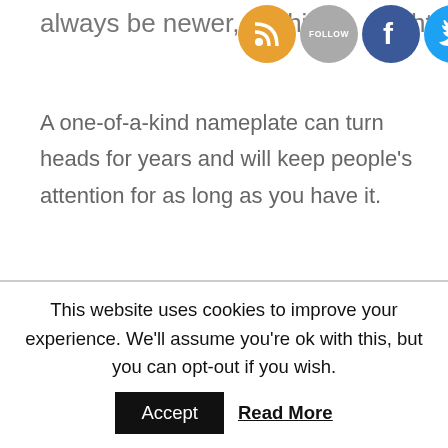[Figure (other): Social media icons bar (RSS, Follow, Facebook, Twitter) partially overlapping text]
A one-of-a-kind nameplate can turn heads for years and will keep people’s attention for as long as you have it.
While registering, you can choose whatever humorous plates you like, but keep in mind that some are strictly restricted to obscene plates. If you have used those prohibited plates, cops have full authority to punish you.
This website uses cookies to improve your experience. We’ll assume you’re ok with this, but you can opt-out if you wish.
Accept   Read More